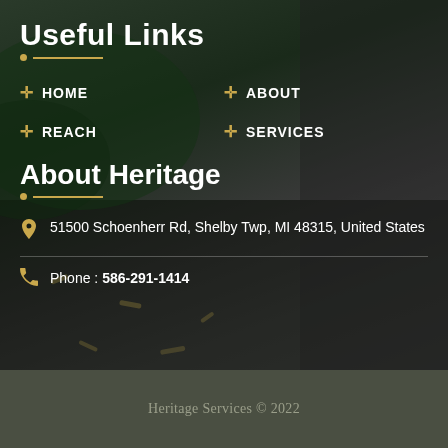Useful Links
HOME
ABOUT
REACH
SERVICES
About Heritage
51500 Schoenherr Rd, Shelby Twp, MI 48315, United States
Phone : 586-291-1414
Heritage Services © 2022